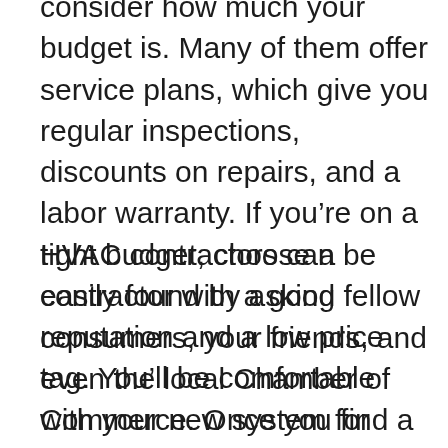Before hiring an HVAC contractor, you should consider how much your budget is. Many of them offer service plans, which give you regular inspections, discounts on repairs, and a labor warranty. If you’re on a tight budget, choose a contractor with a good reputation and a low price tag. You’ll be comfortable with your new system for years to come! There are many benefits to hiring a contractor specializing in HVAC.
HVAC contractors can be easily found by asking fellow consumers, your friends, and even the local Chamber of Commerce. Once you find a contractor, make sure he takes pride in his work. His HVAC truck should be in good condition and bear the name of his company. Another advantage to hiring an HVAC consultant is that you can get rebates for energy-efficient equipment. If you